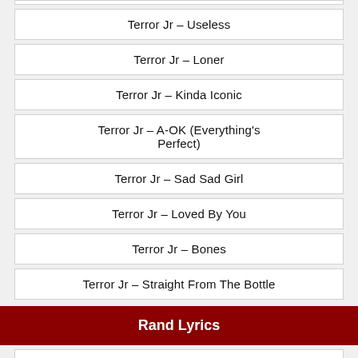Terror Jr – Useless
Terror Jr – Loner
Terror Jr – Kinda Iconic
Terror Jr – A-OK (Everything's Perfect)
Terror Jr – Sad Sad Girl
Terror Jr – Loved By You
Terror Jr – Bones
Terror Jr – Straight From The Bottle
Rand Lyrics
Misch, Tom – On My Mind